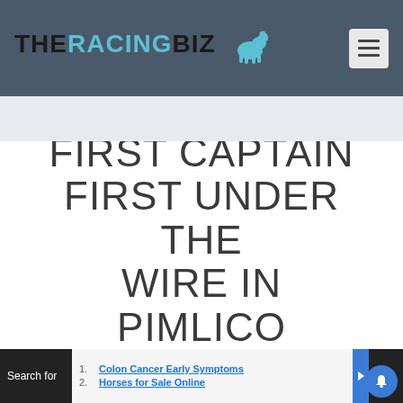THERACINGBIZ
FIRST CAPTAIN FIRST UNDER THE WIRE IN PIMLICO
1. Colon Cancer Early Symptoms
2. Horses for Sale Online
Search for